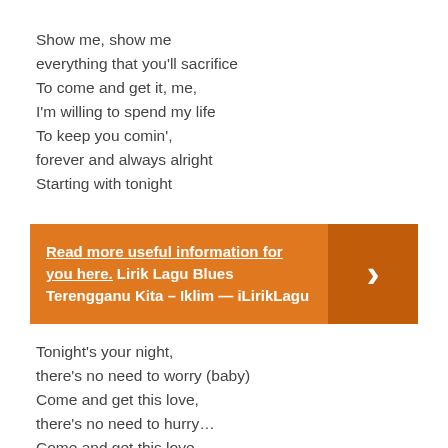Show me, show me
everything that you'll sacrifice
To come and get it, me,
I'm willing to spend my life
To keep you comin',
forever and always alright
Starting with tonight
Read more useful information for you here. Lirik Lagu Blues Terengganu Kita – Iklim — iLirikLagu
Tonight's your night,
there's no need to worry (baby)
Come and get this love,
there's no need to hurry…
Come and get this love